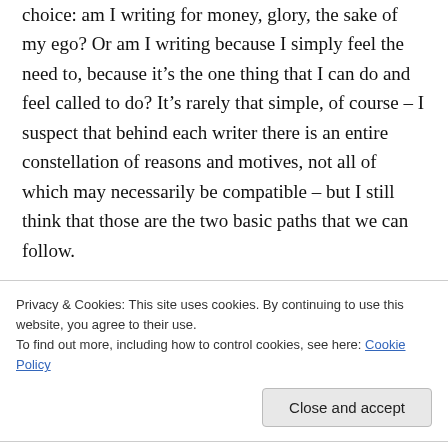choice: am I writing for money, glory, the sake of my ego? Or am I writing because I simply feel the need to, because it's the one thing that I can do and feel called to do? It's rarely that simple, of course – I suspect that behind each writer there is an entire constellation of reasons and motives, not all of which may necessarily be compatible – but I still think that those are the two basic paths that we can follow.
I'm often dismayed by the number of voices in
Privacy & Cookies: This site uses cookies. By continuing to use this website, you agree to their use. To find out more, including how to control cookies, see here: Cookie Policy
Close and accept
claptrap. I'm not saying that there's anything